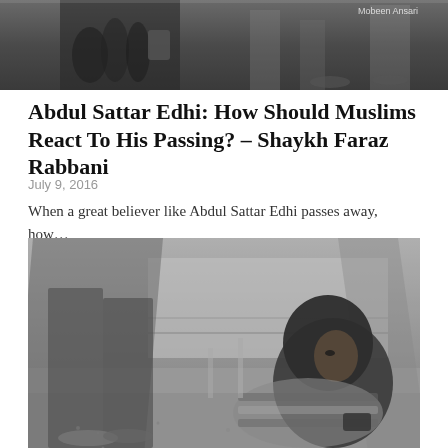[Figure (photo): Black and white photo of hands holding an object, cropped at top of page with photographer watermark 'Mobeen Ansari']
Abdul Sattar Edhi: How Should Muslims React To His Passing? – Shaykh Faraz Rabbani
July 9, 2016
When a great believer like Abdul Sattar Edhi passes away, how…
[Figure (photo): Black and white street photo of a person in a hoodie sitting on the ground while blurred pedestrians walk past]